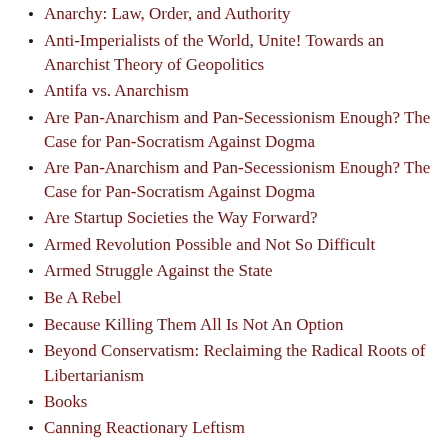Anarchy: Law, Order, and Authority
Anti-Imperialists of the World, Unite! Towards an Anarchist Theory of Geopolitics
Antifa vs. Anarchism
Are Pan-Anarchism and Pan-Secessionism Enough? The Case for Pan-Socratism Against Dogma
Are Pan-Anarchism and Pan-Secessionism Enough? The Case for Pan-Socratism Against Dogma
Are Startup Societies the Way Forward?
Armed Revolution Possible and Not So Difficult
Armed Struggle Against the State
Be A Rebel
Because Killing Them All Is Not An Option
Beyond Conservatism: Reclaiming the Radical Roots of Libertarianism
Books
Canning Reactionary Leftism
Communities, Immigration, and Decentralization
Conservatism Is Not Enough: Reclaiming the Legacy of the Anti-State Left
Crime and Conflict Theory
Critique of the Americans For Self-Determination Plan for Separatism and Decentralism